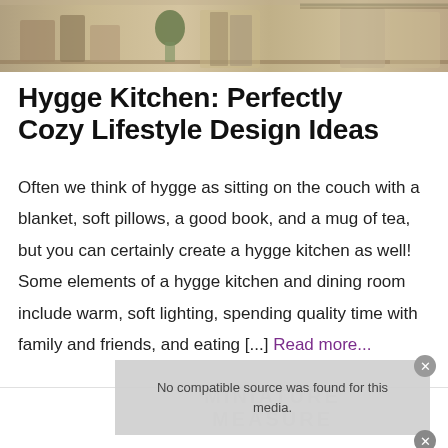[Figure (photo): Photo strip at top showing wooden kitchen shelving and storage items, natural wood tones]
Hygge Kitchen: Perfectly Cozy Lifestyle Design Ideas
Often we think of hygge as sitting on the couch with a blanket, soft pillows, a good book, and a mug of tea, but you can certainly create a hygge kitchen as well! Some elements of a hygge kitchen and dining room include warm, soft lighting, spending quality time with family and friends, and eating [...] Read more...